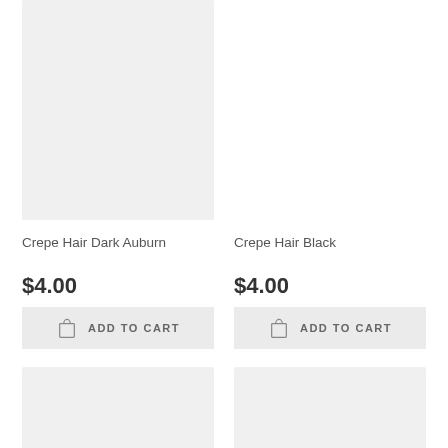[Figure (photo): Product image placeholder – light gray rectangle for Crepe Hair Dark Auburn]
[Figure (photo): Product image placeholder – light gray rectangle for Crepe Hair Black]
Crepe Hair Dark Auburn
Crepe Hair Black
$4.00
$4.00
ADD TO CART
ADD TO CART
[Figure (photo): Product image placeholder – light gray rectangle, bottom-left]
[Figure (photo): Product image placeholder – light gray rectangle, bottom-right]